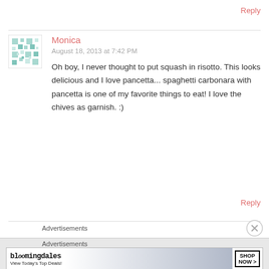Reply
[Figure (illustration): Avatar icon: teal/mint geometric snowflake-like pattern on white square background]
Monica
August 18, 2013 at 7:42 PM
Oh boy, I never thought to put squash in risotto. This looks delicious and I love pancetta... spaghetti carbonara with pancetta is one of my favorite things to eat! I love the chives as garnish. :)
Reply
Advertisements
Advertisements
[Figure (screenshot): Bloomingdales advertisement banner: 'bloomingdales View Today's Top Deals!' with woman in big hat, SHOP NOW > button]